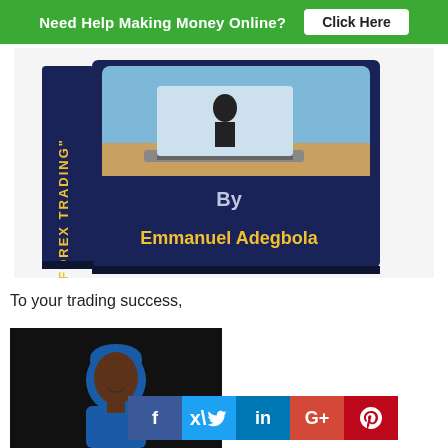Need Help Making Money Online?  Click Here
[Figure (photo): 3D book cover with dark navy blue background showing 'FOREX TRADING' text on spine, laptop image on front cover, with text 'By Emmanuel Adegbola' in white and yellow]
To your trading success,
[Figure (photo): Portrait photo of Emmanuel Adegbola wearing a blue cap and blue polo shirt against a black background]
[Figure (other): Social media sharing buttons row: Facebook (f), Twitter (bird), LinkedIn (in), Google+ (G+), Pinterest (P)]